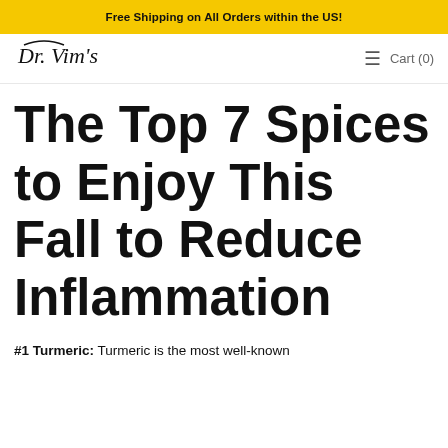Free Shipping on All Orders within the US!
Dr. Vim's   ≡  Cart (0)
The Top 7 Spices to Enjoy This Fall to Reduce Inflammation
#1 Turmeric: Turmeric is the most well-known